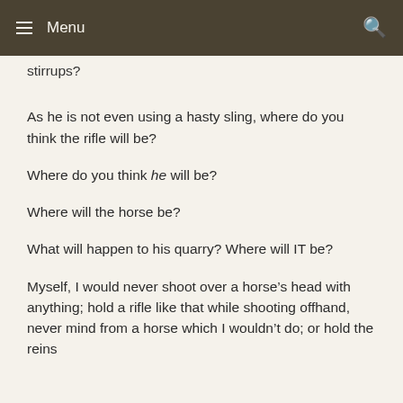Menu
stirrups?
As he is not even using a hasty sling, where do you think the rifle will be?
Where do you think he will be?
Where will the horse be?
What will happen to his quarry? Where will IT be?
Myself, I would never shoot over a horse’s head with anything; hold a rifle like that while shooting offhand, never mind from a horse which I wouldn’t do; or hold the reins